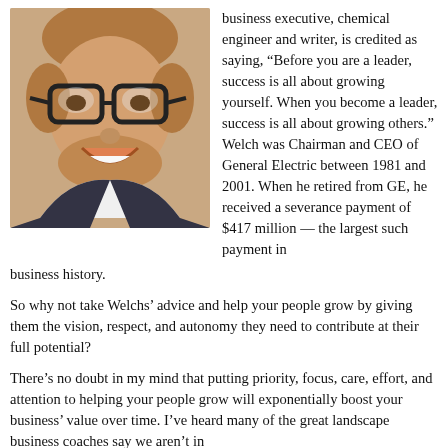[Figure (photo): Smiling man with glasses wearing a dark blazer and white collared shirt, photographed in a close-up selfie-style portrait.]
business executive, chemical engineer and writer, is credited as saying, “Before you are a leader, success is all about growing yourself. When you become a leader, success is all about growing others.” Welch was Chairman and CEO of General Electric between 1981 and 2001. When he retired from GE, he received a severance payment of $417 million — the largest such payment in business history.
So why not take Welchs’ advice and help your people grow by giving them the vision, respect, and autonomy they need to contribute at their full potential?
There’s no doubt in my mind that putting priority, focus, care, effort, and attention to helping your people grow will exponentially boost your business’ value over time. I’ve heard many of the great landscape business coaches say we aren’t in